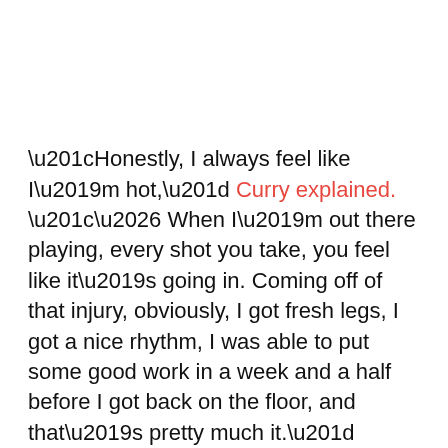“Honestly, I always feel like I’m hot,” Curry explained. “… When I’m out there playing, every shot you take, you feel like it’s going in. Coming off of that injury, obviously, I got fresh legs, I got a nice rhythm, I was able to put some good work in a week and a half before I got back on the floor, and that’s pretty much it.”